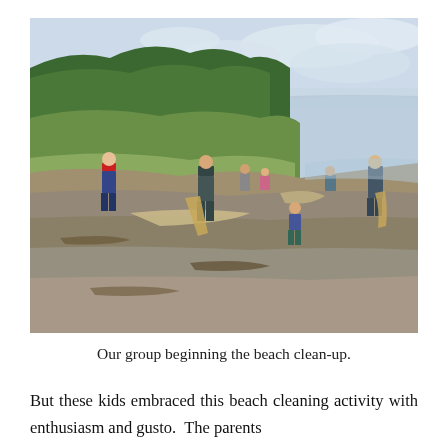[Figure (photo): A group of adults and children on a pebbly beach doing a beach clean-up activity. Trees and green vegetation on a hillside are visible on the left, and a calm body of water and cloudy sky are on the right. People are spread along the shoreline carrying bags.]
Our group beginning the beach clean-up.
But these kids embraced this beach cleaning activity with enthusiasm and gusto.  The parents